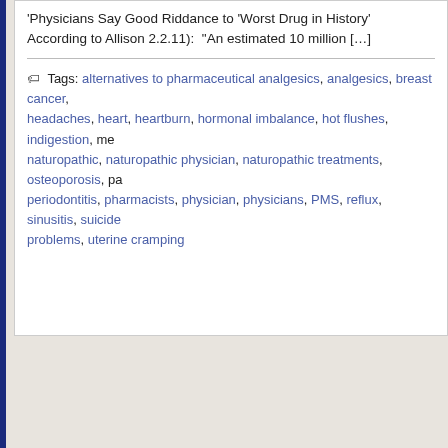'Physicians Say Good Riddance to 'Worst Drug in History'  According to Allison 2.2.11):  "An estimated 10 million […]
Tags: alternatives to pharmaceutical analgesics, analgesics, breast cancer, headaches, heart, heartburn, hormonal imbalance, hot flushes, indigestion, me naturopathic, naturopathic physician, naturopathic treatments, osteoporosis, pa periodontitis, pharmacists, physician, physicians, PMS, reflux, sinusitis, suicide problems, uterine cramping